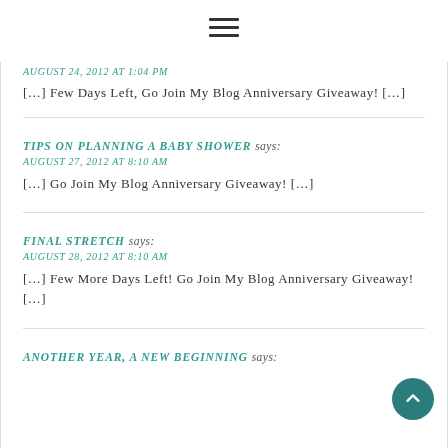[Figure (other): Hamburger menu icon (three horizontal lines)]
[…] Few Days Left, Go Join My Blog Anniversary Giveaway! […]
TIPS ON PLANNING A BABY SHOWER says:
AUGUST 27, 2012 AT 8:10 AM
[…] Go Join My Blog Anniversary Giveaway! […]
FINAL STRETCH says:
AUGUST 28, 2012 AT 8:10 AM
[…] Few More Days Left! Go Join My Blog Anniversary Giveaway! […]
ANOTHER YEAR, A NEW BEGINNING says: